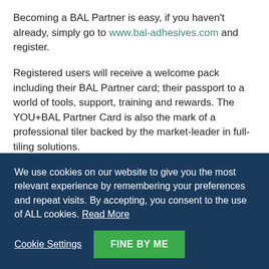Becoming a BAL Partner is easy, if you haven't already, simply go to www.bal-adhesives.com and register.
Registered users will receive a welcome pack including their BAL Partner card; their passport to a world of tools, support, training and rewards. The YOU+BAL Partner Card is also the mark of a professional tiler backed by the market-leader in full-tiling solutions.
Going forward, BAL will offer Partners the chance to have greater access inside BAL, enhanced tools and priority support services by becoming Certified Partners and Advanced Certified Partners.
Alex Underwood, Head of Marketing at BAL, said: "There are many points-based reward  schemes or prize-orientated campaigns, but YOU+BAL  is different from all of these and very different to anything
We use cookies on our website to give you the most relevant experience by remembering your preferences and repeat visits. By accepting, you consent to the use of ALL cookies. Read More
Cookie Settings | FINE BY ME